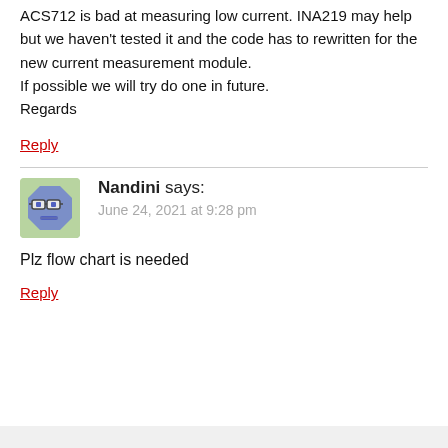ACS712 is bad at measuring low current. INA219 may help but we haven't tested it and the code has to rewritten for the new current measurement module.
If possible we will try do one in future.
Regards
Reply
Nandini says:
June 24, 2021 at 9:28 pm
Plz flow chart is needed
Reply